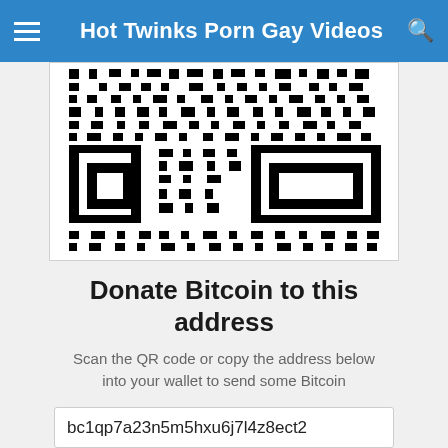Hot Twinks Porn Gay Videos
[Figure (other): QR code for Bitcoin donation address bc1qp7a23n5m5hxu6j7l4z8ect2]
Donate Bitcoin to this address
Scan the QR code or copy the address below into your wallet to send some Bitcoin
bc1qp7a23n5m5hxu6j7l4z8ect2